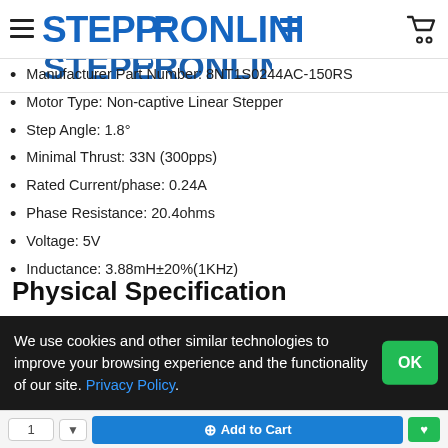STEPPERONLINE
Manufacturer Part Number: 8NT1S0244AC-150RS
Motor Type: Non-captive Linear Stepper
Step Angle: 1.8°
Minimal Thrust: 33N (300pps)
Rated Current/phase: 0.24A
Phase Resistance: 20.4ohms
Voltage: 5V
Inductance: 3.88mH±20%(1KHz)
Physical Specification
Frame Size: 20 x 20mm
Body Length: 30mm
We use cookies and other similar technologies to improve your browsing experience and the functionality of our site. Privacy Policy.